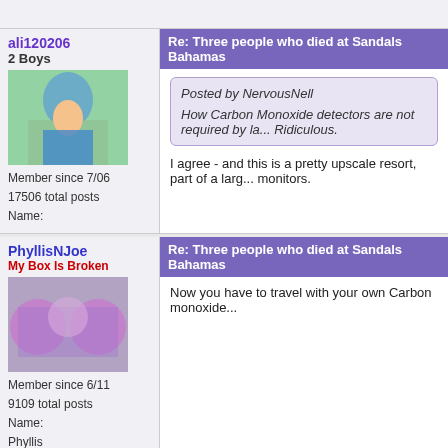ali120206
2 Boys
Member since 7/06
17506 total posts
Name:
Re: Three people who died at Sandals Bahamas
Posted by NervousNell
How Carbon Monoxide detectors are not required by la... Ridiculous.
I agree - and this is a pretty upscale resort, part of a larg... monitors.
PhyllisNJoe
My Box Is Broken
Member since 6/11
9109 total posts
Name:
Phyllis
Re: Three people who died at Sandals Bahamas
Now you have to travel with your own Carbon monoxide...